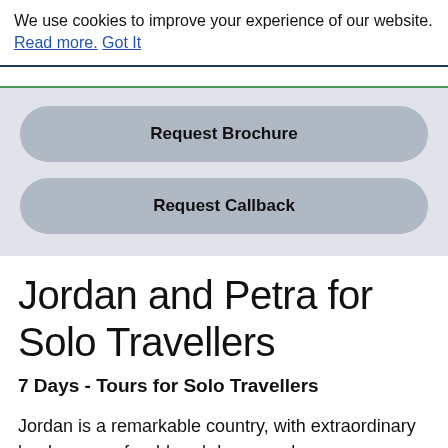We use cookies to improve your experience of our website. Read more. Got It
Request Brochure
Request Callback
Jordan and Petra for Solo Travellers
7 Days - Tours for Solo Travellers
Jordan is a remarkable country, with extraordinary landscapes of red-hued dunes and